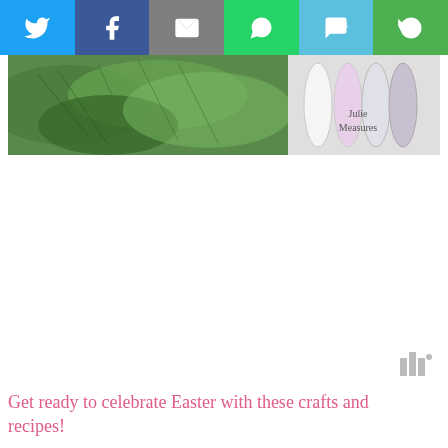[Figure (screenshot): Social sharing bar with Twitter, Facebook, Email, WhatsApp, SMS, and Share buttons in colored squares]
[Figure (photo): Photo strip showing greenery/herbs and white decorative objects with 'Julie Measures' watermark text in bottom right]
Get ready to celebrate Easter with these crafts and recipes!